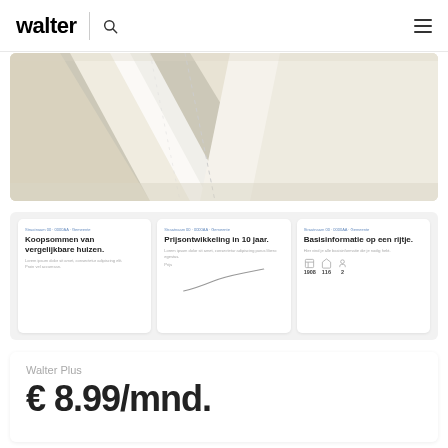walter
[Figure (map): Aerial/plan view map showing road and parcel layout in beige/cream tones]
[Figure (infographic): Three cards side by side: 1) Koopsommen van vergelijkbare huizen. 2) Prijsontwikkeling in 10 jaar. 3) Basisinformatie op een rijtje. with stats 1908, 116, 2]
Walter Plus
€ 8.99/mnd.